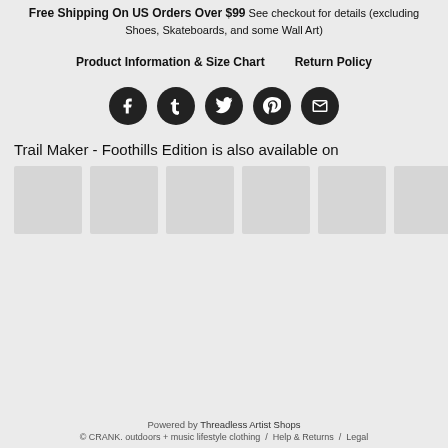Free Shipping On US Orders Over $99 See checkout for details (excluding Shoes, Skateboards, and some Wall Art)
Product Information & Size Chart     Return Policy
[Figure (infographic): Five social media share icons (Facebook, Tumblr, Twitter, Pinterest, Email) as dark circular buttons]
Trail Maker - Foothills Edition is also available on
[Figure (infographic): Row of six grey placeholder thumbnail images for product variants]
Powered by Threadless Artist Shops
© CRANK. outdoors + music lifestyle clothing / Help & Returns / Legal